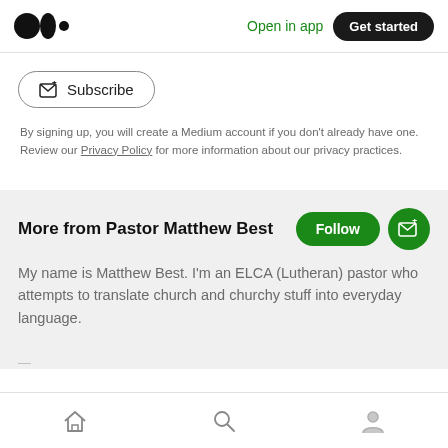Open in app  Get started
Subscribe
By signing up, you will create a Medium account if you don't already have one. Review our Privacy Policy for more information about our privacy practices.
More from Pastor Matthew Best
My name is Matthew Best. I'm an ELCA (Lutheran) pastor who attempts to translate church and churchy stuff into everyday language.
(home icon) (search icon) (profile icon)